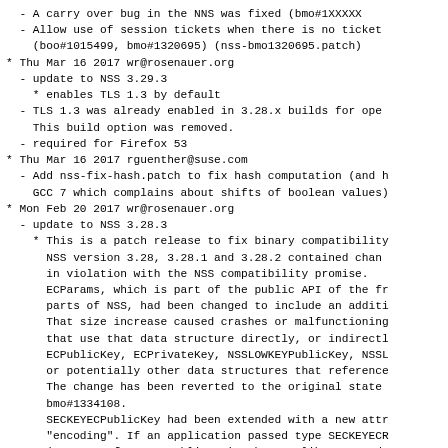- A carry over bug in the NNS was fixed (bmo#1XXXXX)
- Allow use of session tickets when there is no ticket
    (boo#1015499, bmo#1320695) (nss-bmo1320695.patch)
* Thu Mar 16 2017 wr@rosenauer.org
  - update to NSS 3.29.3
    * enables TLS 1.3 by default
  - TLS 1.3 was already enabled in 3.28.x builds for ope
    This build option was removed.
  - required for Firefox 53
* Thu Mar 16 2017 rguenther@suse.com
  - Add nss-fix-hash.patch to fix hash computation (and b
    GCC 7 which complains about shifts of boolean values)
* Mon Feb 20 2017 wr@rosenauer.org
  - update to NSS 3.28.3
    * This is a patch release to fix binary compatibility
      NSS version 3.28, 3.28.1 and 3.28.2 contained chan
      in violation with the NSS compatibility promise.
      ECParams, which is part of the public API of the fr
      parts of NSS, had been changed to include an additi
      That size increase caused crashes or malfunctioning
      that use that data structure directly, or indirectl
      ECPublicKey, ECPrivateKey, NSSLOWKEYPublicKey, NSSL
      or potentially other data structures that reference
      The change has been reverted to the original state
      bmo#1334108.
      SECKEYECPublicKey had been extended with a new attr
      "encoding". If an application passed type SECKEYECR
      (as part of SECKEYPublicKey), the NSS library read
      attribute. With this NSS release SECKEYECPublicKey
      deprecated. NSS no longer reads the attribute, and
      set it to ECPoint_Undefined. See bug bmo#1340102.